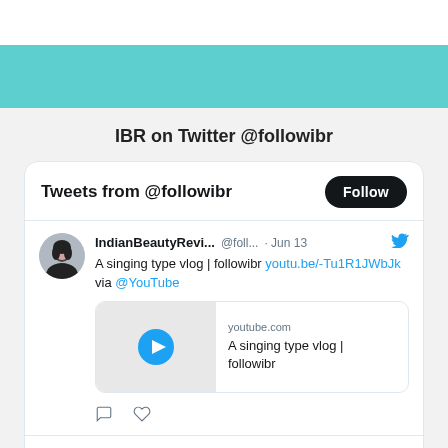IBR on Twitter @followibr
Tweets from @followibr
IndianBeautyRevi... @foll... · Jun 13
A singing type vlog | followibr youtu.be/-Tu1R1JWbJk via @YouTube
youtube.com
A singing type vlog | followibr
IndianBeautyRevi... @foll... · Jan 12